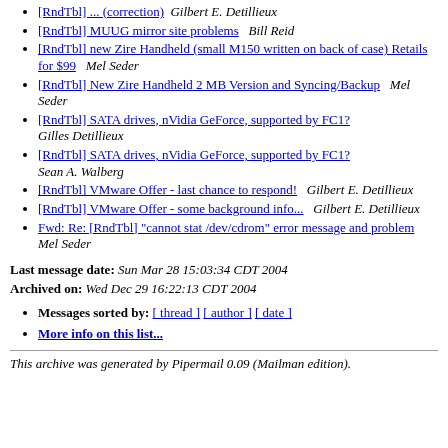[RndTbl] ... (correction)  Gilbert E. Detillieux
[RndTbl] MUUG mirror site problems   Bill Reid
[RndTbl] new Zire Handheld (small M150 written on back of case) Retails for $99   Mel Seder
[RndTbl] New Zire Handheld 2 MB Version and Syncing/Backup   Mel Seder
[RndTbl] SATA drives, nVidia GeForce, supported by FC1?  Gilles Detillieux
[RndTbl] SATA drives, nVidia GeForce, supported by FC1?  Sean A. Walberg
[RndTbl] VMware Offer - last chance to respond!   Gilbert E. Detillieux
[RndTbl] VMware Offer - some background info...   Gilbert E. Detillieux
Fwd: Re: [RndTbl] "cannot stat /dev/cdrom" error message and problem   Mel Seder
Last message date: Sun Mar 28 15:03:34 CDT 2004
Archived on: Wed Dec 29 16:22:13 CDT 2004
Messages sorted by: [ thread ] [ author ] [ date ]
More info on this list...
This archive was generated by Pipermail 0.09 (Mailman edition).